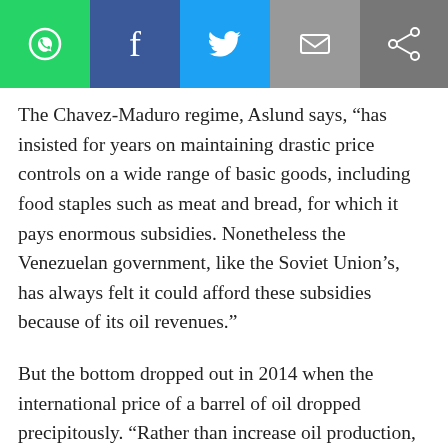[Figure (other): Social media sharing toolbar with WhatsApp, Facebook, Twitter, email, and share buttons]
The Chavez-Maduro regime, Aslund says, “has insisted for years on maintaining drastic price controls on a wide range of basic goods, including food staples such as meat and bread, for which it pays enormous subsidies. Nonetheless the Venezuelan government, like the Soviet Union’s, has always felt it could afford these subsidies because of its oil revenues.”
But the bottom dropped out in 2014 when the international price of a barrel of oil dropped precipitously. “Rather than increase oil production, the Venezuelan government has been forced to watch it decline because of its mismanagement of the dominant state-owned oil company, PDVSA,” Aslund writes. “And now Venezuela seems intent on repeating the Soviet folly of the late 1980s by